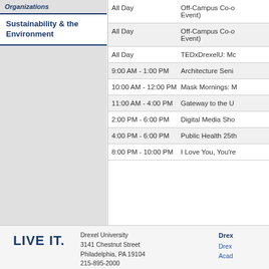Organizations
Sustainability & the Environment
| Time | Event |
| --- | --- |
| All Day | Off-Campus Co-o... Event) |
| All Day | Off-Campus Co-o... Event) |
| All Day | TEDxDrexelU: Mc... |
| 9:00 AM - 1:00 PM | Architecture Seni... |
| 10:00 AM - 12:00 PM | Mask Mornings: M... |
| 11:00 AM - 4:00 PM | Gateway to the U... |
| 2:00 PM - 6:00 PM | Digital Media Sho... |
| 4:00 PM - 6:00 PM | Public Health 25th... |
| 8:00 PM - 10:00 PM | I Love You, You're... |
Drexel University
3141 Chestnut Street
Philadelphia, PA 19104
215-895-2000
© 2011 - All Rights Reserved.